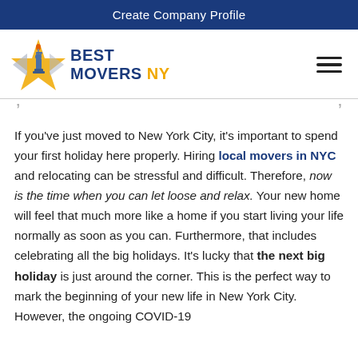Create Company Profile
[Figure (logo): Best Movers NY logo with Statue of Liberty and star/arrow graphic in orange and blue]
If you've just moved to New York City, it's important to spend your first holiday here properly. Hiring local movers in NYC and relocating can be stressful and difficult. Therefore, now is the time when you can let loose and relax. Your new home will feel that much more like a home if you start living your life normally as soon as you can. Furthermore, that includes celebrating all the big holidays. It's lucky that the next big holiday is just around the corner. This is the perfect way to mark the beginning of your new life in New York City. However, the ongoing COVID-19